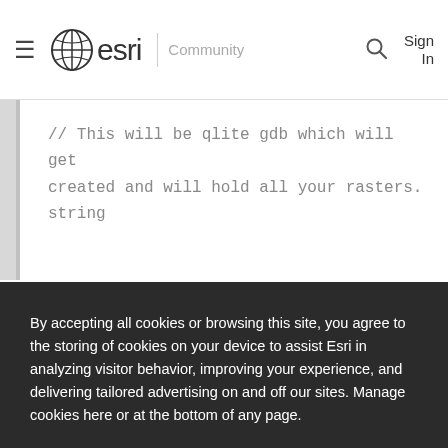esri Community
// This will be qlite gdb which will get created and will hold all your rasters. string
By accepting all cookies or browsing this site, you agree to the storing of cookies on your device to assist Esri in analyzing visitor behavior, improving your experience, and delivering tailored advertising on and off our sites. Manage cookies here or at the bottom of any page.
Accept All Cookies
Cookies Settings